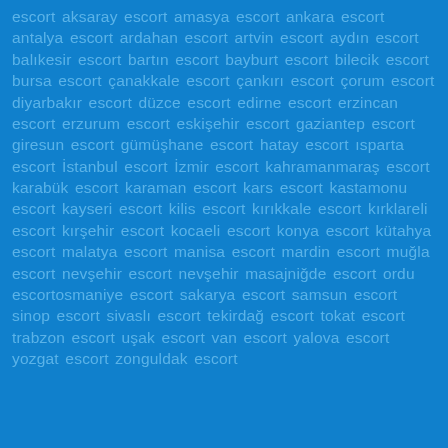escort aksaray escort amasya escort ankara escort antalya escort ardahan escort artvin escort aydın escort balıkesir escort bartın escort bayburt escort bilecik escort bursa escort çanakkale escort çankırı escort çorum escort diyarbakır escort düzce escort edirne escort erzincan escort erzurum escort eskişehir escort gaziantep escort giresun escort gümüşhane escort hatay escort ısparta escort İstanbul escort İzmir escort kahramanmaraş escort karabük escort karaman escort kars escort kastamonu escort kayseri escort kilis escort kırıkkale escort kırklareli escort kırşehir escort kocaeli escort konya escort kütahya escort malatya escort manisa escort mardin escort muğla escort nevşehir escort nevşehir masajniğde escort ordu escortosmaniye escort sakarya escort samsun escort sinop escort sivaslı escort tekirdağ escort tokat escort trabzon escort uşak escort van escort yalova escort yozgat escort zonguldak escort